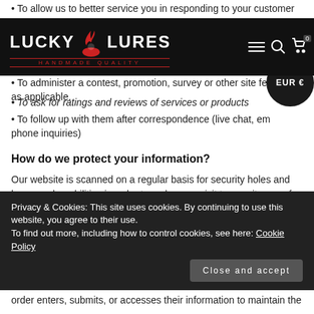• To allow us to better service you in responding to your customer service requests.
• To administer a contest, promotion, survey or other site feature.
• To ask for ratings and reviews of services or products
• To follow up with them after correspondence (live chat, email or phone inquiries)
Lucky Lures – Handmade Quality [navigation bar]
How do we protect your information?
Our website is scanned on a regular basis for security holes and known vulnerabilities in order to make your visit to our site as safe as possible.
We use regular Malware Scanning.
Your personal information is contained behind secured networks
Privacy & Cookies: This site uses cookies. By continuing to use this website, you agree to their use.
To find out more, including how to control cookies, see here: Cookie Policy
order enters, submits, or accesses their information to maintain the